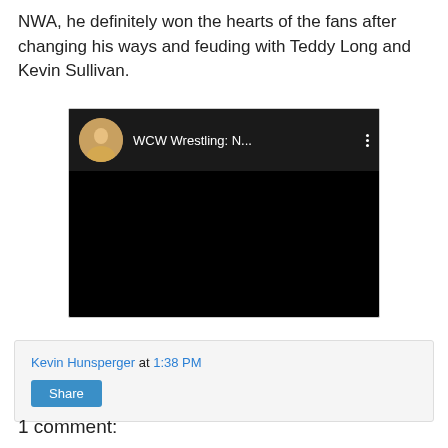NWA, he definitely won the hearts of the fans after changing his ways and feuding with Teddy Long and Kevin Sullivan.
[Figure (screenshot): Embedded YouTube video player screenshot showing a dark/black video frame with a top bar containing a circular thumbnail of a wrestler, the title 'WCW Wrestling: N...' in white text, and a vertical three-dot menu icon.]
Kevin Hunsperger at 1:38 PM
Share
1 comment: